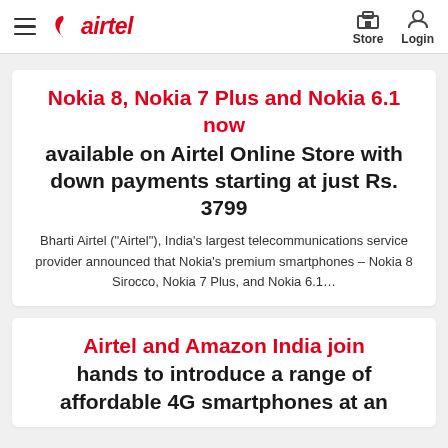airtel — Store | Login
Nokia 8, Nokia 7 Plus and Nokia 6.1 now available on Airtel Online Store with down payments starting at just Rs. 3799
Bharti Airtel ("Airtel"), India's largest telecommunications service provider announced that Nokia's premium smartphones – Nokia 8 Sirocco, Nokia 7 Plus, and Nokia 6.1…
Airtel and Amazon India join hands to introduce a range of affordable 4G smartphones at an